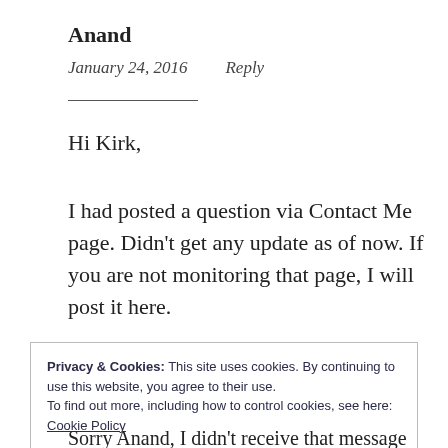Anand
January 24, 2016    Reply
Hi Kirk,
I had posted a question via Contact Me page. Didn't get any update as of now. If you are not monitoring that page, I will post it here.
Privacy & Cookies: This site uses cookies. By continuing to use this website, you agree to their use.
To find out more, including how to control cookies, see here:
Cookie Policy
Close and accept
Sorry Anand, I didn't receive that message